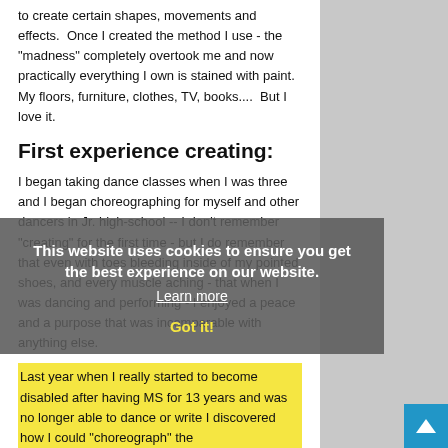to create certain shapes, movements and effects.  Once I created the method I use - the "madness" completely overtook me and now practically everything I own is stained with paint.  My floors, furniture, clothes, TV, books....  But I love it.
First experience creating:
I began taking dance classes when I was three and I began choreographing for myself and other dancers in Jr. high-school -- I don't remember "creating" for the first time - but I do remember that even with toes bleeding inside of my pointed shoes, and every muscle aching - that when I was dancing and performing - I enjoyed a peace and a purpose that was incomparable with anything else.
This website uses cookies to ensure you get the best experience on our website.
Learn more
Got it!
Last year when I really started to become disabled after having MS for 13 years and was no longer able to dance or write I discovered how I could "choreograph" the paint to music - and make the paint dance